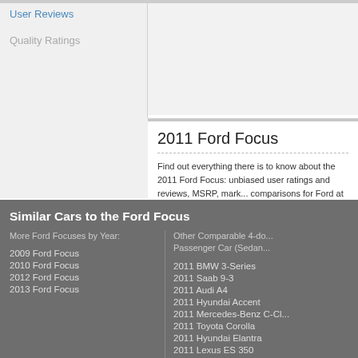User Reviews
Quality Ratings
2011 Ford Focus
Find out everything there is to know about the 2011 Ford Focus: unbiased user ratings and reviews, MSRP, market value, comparisons for Ford at DriverSide.com.
Similar Cars to the Ford Focus
More Ford Focuses by Year:
2009 Ford Focus
2010 Ford Focus
2012 Ford Focus
2013 Ford Focus
Other Comparable 4-do... Passenger Car (Sedan...
2011 BMW 3-Series
2011 Saab 9-3
2011 Audi A4
2011 Hyundai Accent
2011 Mercedes-Benz C-Cl...
2011 Toyota Corolla
2011 Hyundai Elantra
2011 Lexus ES 350
2011 Subaru Impreza Sed...
2011 Volkswagen Jetta Se...
2011 Mitsubishi Lancer...